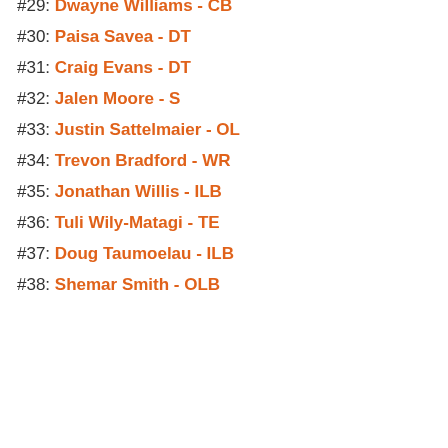#29: Dwayne Williams - CB
#30: Paisa Savea - DT
#31: Craig Evans - DT
#32: Jalen Moore - S
#33: Justin Sattelmaier - OL
#34: Trevon Bradford - WR
#35: Jonathan Willis - ILB
#36: Tuli Wily-Matagi - TE
#37: Doug Taumoelau - ILB
#38: Shemar Smith - OLB